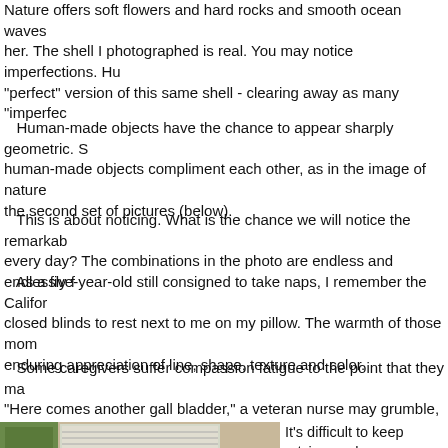Nature offers soft flowers and hard rocks and smooth ocean waves her. The shell I photographed is real. You may notice imperfections. Hu "perfect" version of this same shell - clearing away as many "imperfec
Human-made objects have the chance to appear sharply geometric. S human-made objects compliment each other, as in the image of nature the second set of pictures (below).
This is about noticing. What is the chance we will notice the remarkab every day? The combinations in the photo are endless and endlessly f
As a five-year-old still consigned to take naps, I remember the Califor closed blinds to rest next to me on my pillow. The warmth of those mom enduring appreciation of line, shape, texture and color.
Some caregivers suffer compassion fatigue to the point that they ma "Here comes another gall bladder," a veteran nurse may grumble, as i assembly-line vehicles in need of adjustment.
[Figure (photo): Interior room photo showing a window with blinds, a wooden table, and a striped object in the foreground]
It's difficult to keep seeing each cas is difficult for many to see that the color image (at left) is a different artistic experience from the black & white image, even though they are the identical scene.